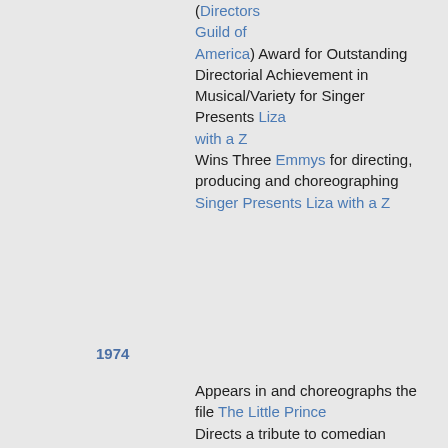(Directors Guild of America) Award for Outstanding Directorial Achievement in Musical/Variety for Singer Presents Liza with a Z Wins Three Emmys for directing, producing and choreographing Singer Presents Liza with a Z
1974
Appears in and choreographs the file The Little Prince Directs a tribute to comedian Lenny Bruce, in the non-musical film